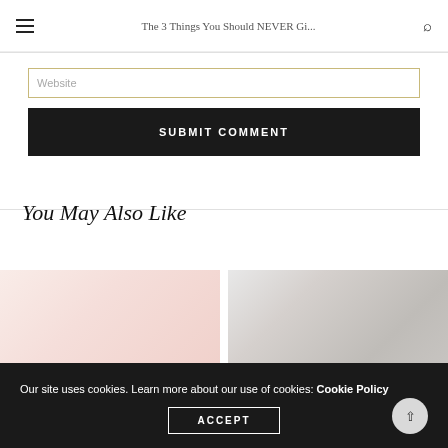The 3 Things You Should NEVER Gi...
Website
SUBMIT COMMENT
You May Also Like
[Figure (photo): Two blurred lifestyle/interior photos side by side used as article thumbnails]
Our site uses cookies. Learn more about our use of cookies: Cookie Policy
ACCEPT